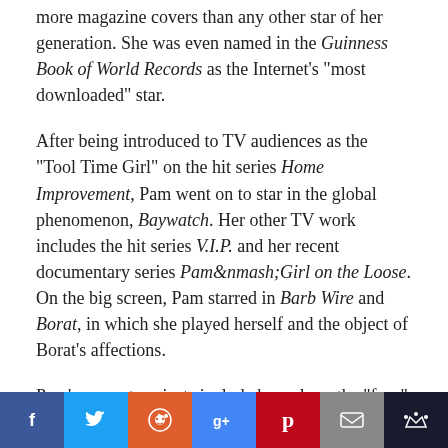more magazine covers than any other star of her generation. She was even named in the Guinness Book of World Records as the Internet's “most downloaded” star.
After being introduced to TV audiences as the “Tool Time Girl” on the hit series Home Improvement, Pam went on to star in the global phenomenon, Baywatch. Her other TV work includes the hit series V.I.P. and her recent documentary series Pam&nmash;Girl on the Loose. On the big screen, Pam starred in Barb Wire and Borat, in which she played herself and the object of Borat’s affections.
Pam’s current projects include her role as the “face” of the current campaign for the work of legendary designer Vivienne Westwood, and her partnership with her friend, designer Richie Rich, on the A*Muse brand&mndash;a line of clothing inspired by Pam and created by Richie.
[Figure (infographic): Social media sharing buttons bar: Facebook, Twitter, Reddit, Google+, Pinterest, Email, and another share button]